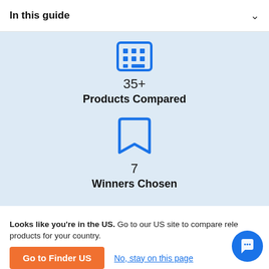In this guide
[Figure (infographic): Blue grid/keyboard icon above '35+' and 'Products Compared' text on a light blue background]
35+
Products Compared
[Figure (infographic): Blue bookmark icon above '7' and 'Winners Chosen' text on a light blue background]
7
Winners Chosen
We compared nine baby monitor brands and based our picks on real customer reviews and
Looks like you're in the US. Go to our US site to compare rele products for your country.
Go to Finder US
No, stay on this page